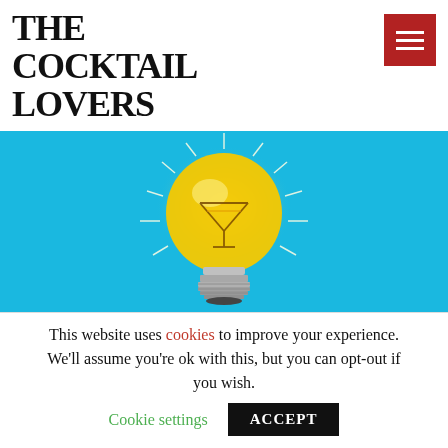THE COCKTAIL LOVERS
[Figure (illustration): Light bulb illustration with a martini glass inside, glowing yellow on a cyan/light blue background, with radiating light rays around the bulb]
Cheer up, issue 16 of The
This website uses cookies to improve your experience. We'll assume you're ok with this, but you can opt-out if you wish.  Cookie settings  ACCEPT